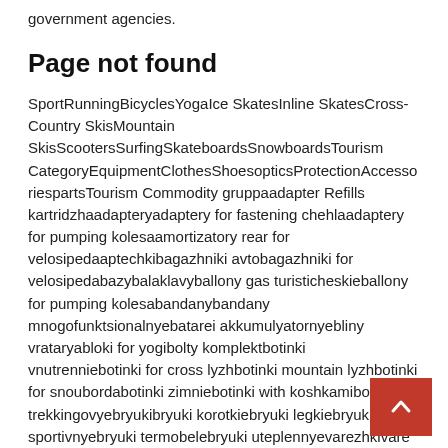government agencies.
Page not found
SportRunningBicyclesYogaIce SkatesInline SkatesCross-Country SkisMountain SkisScootersSurfingSkateboardsSnowboardsTourism CategoryEquipmentClothesShoesopticsProtectionAccessoriespartsTourism Commodity gruppaadapter Refills kartridzhaadapteryadaptery for fastening chehlaadaptery for pumping kolesaamortizatory rear for velosipedaaptechkibagazhniki avtobagazhniki for velosipedabazybalaklavyballony gas turisticheskieballony for pumping kolesabandanybandany mnogofunktsionalnyebatarei akkumulyatornyebliny vrataryabloki for yogibolty komplektbotinki vnutrenniebotinki for cross lyzhbotinki mountain lyzhbotinki for snoubordabotinki zimniebotinki with koshkamibotinki trekkingovyebryukibryuki korotkiebryuki legkiebryuki sportivnyebryuki termobelebryuki uteplennyevarezhkivarezhki with podogrevomvodra skladnyevelosipedy BMXvelosipedy jogging bikes mountain bikes electric mountain bikes cruisers bicycles walking bikes Nogo meshkavtulki for velosipedavtulki